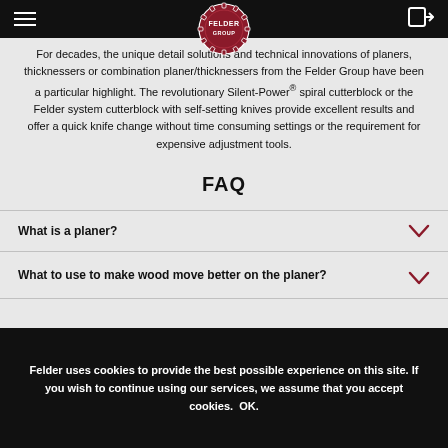Felder Group navigation header with hamburger menu and logo
For decades, the unique detail solutions and technical innovations of planers, thicknessers or combination planer/thicknessers from the Felder Group have been a particular highlight. The revolutionary Silent-Power® spiral cutterblock or the Felder system cutterblock with self-setting knives provide excellent results and offer a quick knife change without time consuming settings or the requirement for expensive adjustment tools.
FAQ
What is a planer?
What to use to make wood move better on the planer?
Felder uses cookies to provide the best possible experience on this site. If you wish to continue using our services, we assume that you accept cookies. OK.